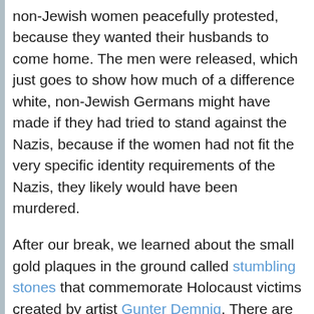non-Jewish women peacefully protested, because they wanted their husbands to come home. The men were released, which just goes to show how much of a difference white, non-Jewish Germans might have made if they had tried to stand against the Nazis, because if the women had not fit the very specific identity requirements of the Nazis, they likely would have been murdered.
After our break, we learned about the small gold plaques in the ground called stumbling stones that commemorate Holocaust victims created by artist Gunter Demnig. There are 55,000 placed all over Europe. The first ones we saw commemorated a 2-year-old and 12-year-old who were murdered at Auschwitz in 1943. In "The